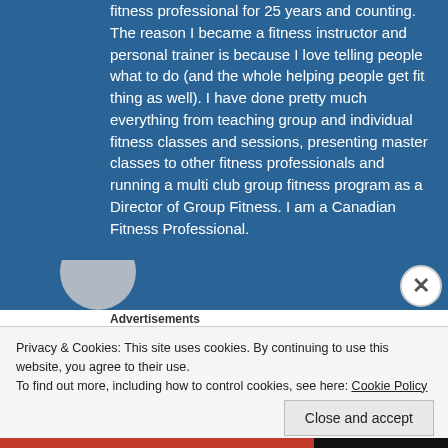fitness professional for 25 years and counting. The reason I became a fitness instructor and personal trainer is because I love telling people what to do (and the whole helping people get fit thing as well). I have done pretty much everything from teaching group and individual fitness classes and sessions, presenting master classes to other fitness professionals and running a multi club group fitness program as a Director of Group Fitness. I am a Canadian Fitness Professional.
[Figure (photo): Partial avatar/profile image circle in bottom left of blue section]
Advertisements
Privacy & Cookies: This site uses cookies. By continuing to use this website, you agree to their use.
To find out more, including how to control cookies, see here: Cookie Policy
Close and accept